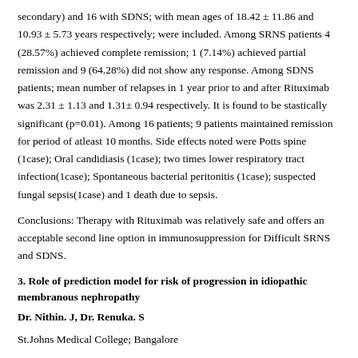secondary) and 16 with SDNS; with mean ages of 18.42 ± 11.86 and 10.93 ± 5.73 years respectively; were included. Among SRNS patients 4 (28.57%) achieved complete remission; 1 (7.14%) achieved partial remission and 9 (64.28%) did not show any response. Among SDNS patients; mean number of relapses in 1 year prior to and after Rituximab was 2.31 ± 1.13 and 1.31± 0.94 respectively. It is found to be stastically significant (p=0.01). Among 16 patients; 9 patients maintained remission for period of atleast 10 months. Side effects noted were Potts spine (1case); Oral candidiasis (1case); two times lower respiratory tract infection(1case); Spontaneous bacterial peritonitis (1case); suspected fungal sepsis(1case) and 1 death due to sepsis.
Conclusions: Therapy with Rituximab was relatively safe and offers an acceptable second line option in immunosuppression for Difficult SRNS and SDNS.
3. Role of prediction model for risk of progression in idiopathic membranous nephropathy
Dr. Nithin. J, Dr. Renuka. S
St.Johns Medical College; Bangalore